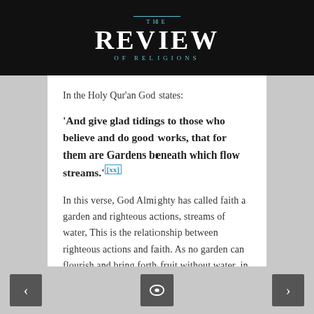THE REVIEW OF RELIGIONS
In the Holy Qur'an God states:
'And give glad tidings to those who believe and do good works, that for them are Gardens beneath which flow streams.'[xx]
In this verse, God Almighty has called faith a garden and righteous actions, streams of water, This is the relationship between righteous actions and faith. As no garden can flourish and bring forth fruit without water, in the same way, no faith is helpful which is not accompanied by righteous action.
The Promised Messiah (as) elucidates:
< [icon] >